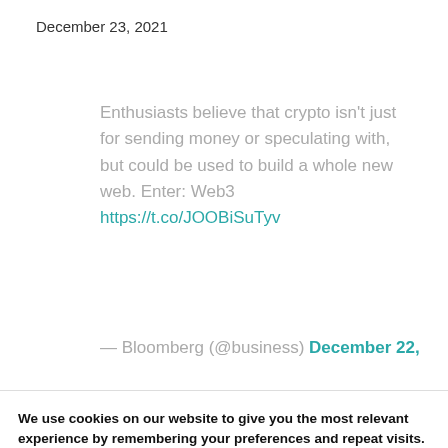December 23, 2021
Enthusiasts believe that crypto isn't just for sending money or speculating with, but could be used to build a whole new web. Enter: Web3 https://t.co/JOOBiSuTyv
— Bloomberg (@business) December 22,
We use cookies on our website to give you the most relevant experience by remembering your preferences and repeat visits. By clicking “Accept”, you consent to the use of ALL the cookies.
Do not sell my personal information.